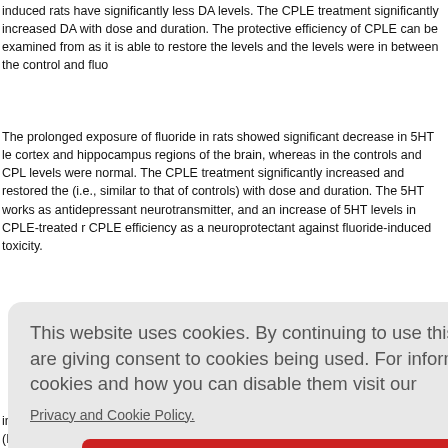induced rats have significantly less DA levels. The CPLE treatment significantly increased DA with dose and duration. The protective efficiency of CPLE can be examined from as it is able to restore the levels and the levels were in between the control and fluo
The prolonged exposure of fluoride in rats showed significant decrease in 5HT levels cortex and hippocampus regions of the brain, whereas in the controls and CPLE levels were normal. The CPLE treatment significantly increased and restored the 5 (i.e., similar to that of controls) with dose and duration. The 5HT works as antidepressant neurotransmitter, and an increase of 5HT levels in CPLE-treated rats CPLE efficiency as a neuroprotectant against fluoride-induced toxicity.
[Figure (other): Cookie consent banner overlay with text: 'This website uses cookies. By continuing to use this website you are giving consent to cookies being used. For information on cookies and how you can disable them visit our Privacy and Cookie Policy.' and a red 'AGREE & PROCEED' button.]
fluoride-indu l to xenobio e reason i t research h infants can get exposed to several environmental chemicals through breast milk (H